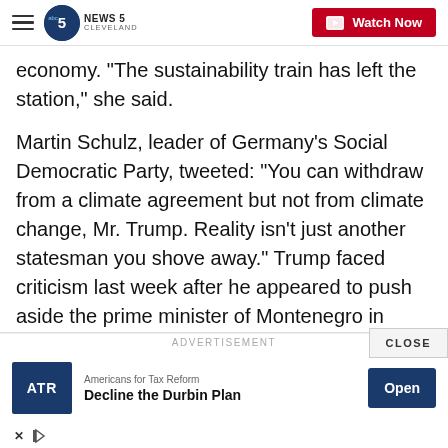News 5 Cleveland — Watch Now
economy. "The sustainability train has left the station," she said.
Martin Schulz, leader of Germany's Social Democratic Party, tweeted: "You can withdraw from a climate agreement but not from climate change, Mr. Trump. Reality isn't just another statesman you shove away." Trump faced criticism last week after he appeared to push aside the prime minister of Montenegro in order to move to the front of a group of NATO leaders.
[Figure (screenshot): Advertisement banner: Americans for Tax Reform — Decline the Durbin Plan, with Open button]
ADVERTISEMENT
CLOSE